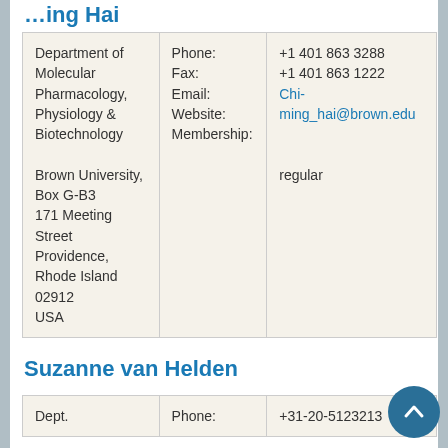Chi-ming Hai
| Department of Molecular Pharmacology, Physiology & Biotechnology
Brown University, Box G-B3
171 Meeting Street
Providence, Rhode Island 02912
USA | Phone:
Fax:
Email:
Website:
Membership: | +1 401 863 3288
+1 401 863 1222
Chi-ming_hai@brown.edu

regular |
Suzanne van Helden
| Dept. | Phone: | +31-20-5123213 |